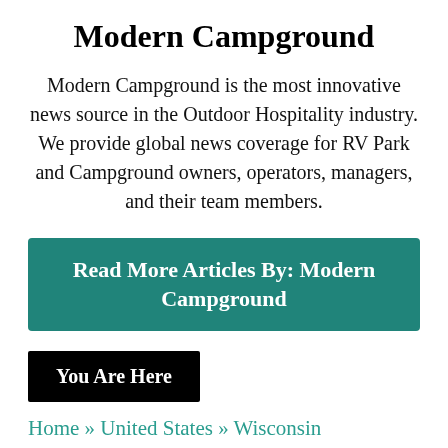Modern Campground
Modern Campground is the most innovative news source in the Outdoor Hospitality industry. We provide global news coverage for RV Park and Campground owners, operators, managers, and their team members.
Read More Articles By: Modern Campground
You Are Here
Home » United States » Wisconsin